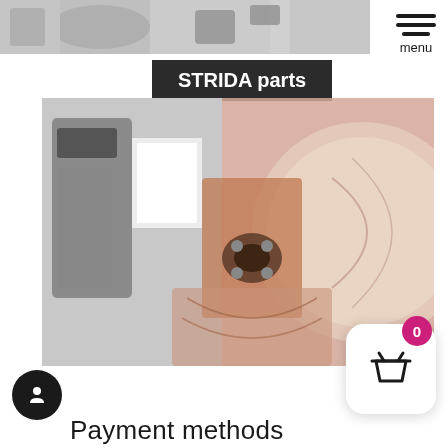[Figure (photo): Partial top strip showing bicycle parts/components in grayscale at the top of the page]
[Figure (illustration): Hamburger menu icon (three horizontal lines) with 'menu' label below it, top right corner]
STRIDA parts
[Figure (photo): Main product image showing STRIDA bicycle parts/wheel hub mechanism, overlapping grayscale and color images]
[Figure (illustration): Shopping basket icon with pink badge showing '0' count, white rounded square button, bottom right]
[Figure (illustration): Black circular chat/support icon, bottom left]
Payment methods